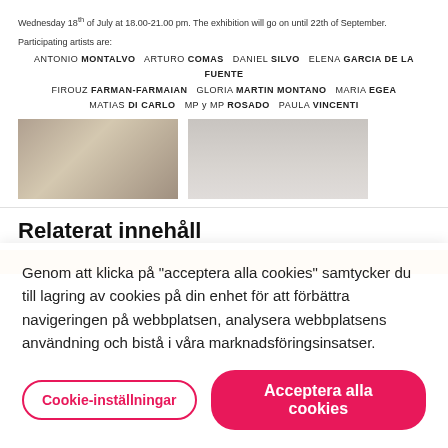Wednesday 18th of July at 18.00-21.00 pm. The exhibition will go on until 22th of September.
Participating artists are:
ANTONIO MONTALVO  ARTURO COMAS  DANIEL SILVO  ELENA GARCIA DE LA FUENTE  FIROUZ FARMAN-FARMAIAN  GLORIA MARTIN MONTANO  MARIA EGEA  MATIAS DI CARLO  MP y MP ROSADO  PAULA VINCENTI
[Figure (photo): Photo of an open book with black and white illustrations]
[Figure (photo): Photo of a person in a white tank top]
Relaterat innehåll
[Figure (photo): Partial view of related content image with orange/brown tones]
Genom att klicka på "acceptera alla cookies" samtycker du till lagring av cookies på din enhet för att förbättra navigeringen på webbplatsen, analysera webbplatsens användning och bistå i våra marknadsföringsinsatser.
Cookie-inställningar
Acceptera alla cookies